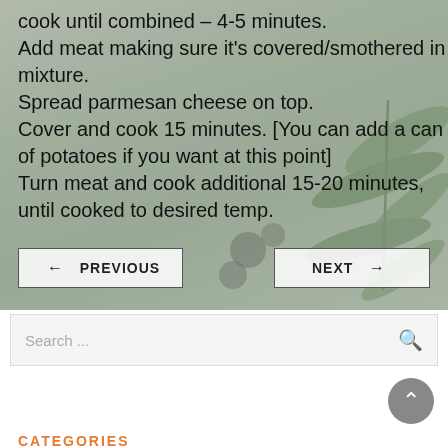cook until combined – 4-5 minutes. Add meat making sure it's covered/smothered in mixture. Spread parmesan cheese on top. Cover and cook 15 minutes. [You can add a can of potatoes if you want at this point] Turn meat and cook additional 15-20 minutes, until cooked to desired temp.
[Figure (photo): Background image of green plant leaves (cannabis/fern) on a muted grey-green background]
← PREVIOUS
NEXT →
Search ...
CATEGORIES